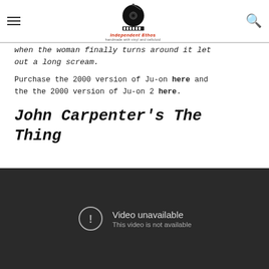Independent Ethos — handmade with vinyl and celluloid
when the woman finally turns around it let out a long scream.
Purchase the 2000 version of Ju-on here and the the 2000 version of Ju-on 2 here.
John Carpenter's The Thing
[Figure (other): Embedded video player showing 'Video unavailable — This video is not available']